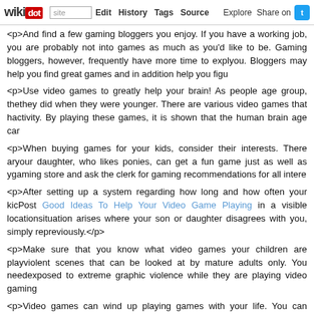wikidot | site | Edit | History | Tags | Source | Explore | Share on Twitter
<p>And find a few gaming bloggers you enjoy. If you have a working job, you are probably not into games as much as you'd like to be. Gaming bloggers, however, frequently have more time to explore the industry and pass on information to you. Bloggers may help you find great games and in addition help you figure ones to steer clear of.
<p>Use video games to greatly help your brain! As people age group, their brains age group, too, and don't work as hard as they did when they were younger. There are various video games that help your brain get some good well needed activity. By playing these games, it is shown that the human brain age can be younger than your actual age.
<p>When buying games for your kids, consider their interests. There are enough video games out there now that your daughter, who likes ponies, can get a fun game just as well as your son, who enjoys army games. Browse the gaming store and ask the clerk for gaming recommendations for all interests.
<p>After setting up a system regarding how long and how often your kids can play games, put that in writing. Post Good Ideas To Help Your Video Game Playing in a visible location and make sure you stick to the rules. If a situation arises where your son or daughter disagrees with you, simply refer back to the rules that have been set up previously.</p>
<p>Make sure that you know what video games your children are playing. Some video games are packed with violent scenes that can be looked at by mature adults only. You need to not expose your children to these or exposed to extreme graphic violence while they are playing video gaming.
<p>Video games can wind up playing games with your life. You can wind up wasting a bunch of time you needed to spend doing productive items, or you can use video games as the source of harmless entertainment they are made to be. The tips within this article to accomplish this apply.</p> -
Cellular Advertising Ideas And Recommendations
13:02
Tags: